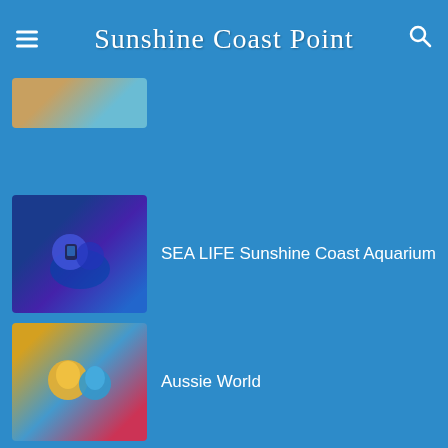Sunshine Coast Point
[Figure (photo): Partial thumbnail image at top, partially cut off]
SEA LIFE Sunshine Coast Aquarium
Aussie World
Big Pineapple
Popular Areas
[Figure (screenshot): Green OPEN button advertisement with close controls]
Tours, Tickets and Activities
Ad